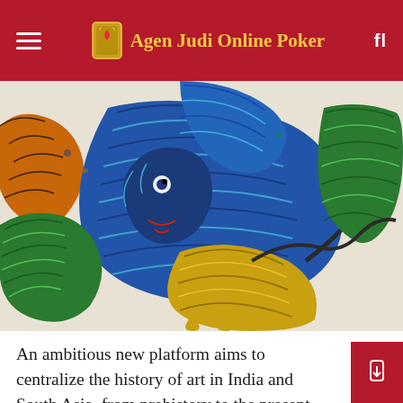Agen Judi Online Poker
[Figure (illustration): Gond/folk art painting showing colorful tigers in dynamic poses, with intricate pattern-filled bodies in blue, green, orange, and yellow, on a light background. Multiple tigers intertwined and leaping.]
An ambitious new platform aims to centralize the history of art in India and South Asia, from prehistory to the present day, in a single digital resource. The MAP Academy Art Encyclopedia launched last Thursday by the Bangalore Museum